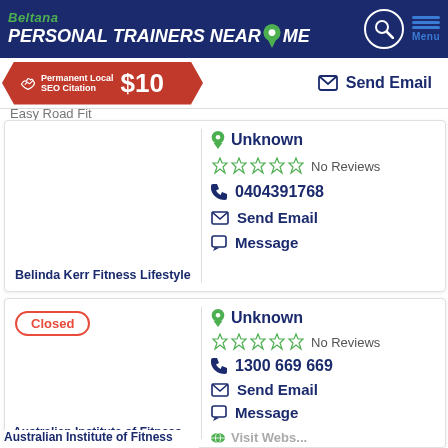Beltana PERSONAL TRAINERS NEAR ME
[Figure (infographic): Advertisement banner: Permanent Local SEO Citation $10]
Easy Road Fit
Send Email
Unknown | No Reviews | 0404391768 | Send Email | Message
Belinda Kerr Fitness Lifestyle
Closed
Unknown | No Reviews | 1300 669 669 | Send Email | Message
Australian Institute of Fitness